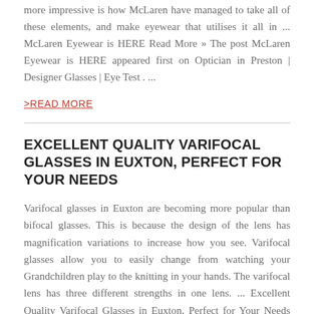more impressive is how McLaren have managed to take all of these elements, and make eyewear that utilises it all in ... McLaren Eyewear is HERE Read More » The post McLaren Eyewear is HERE appeared first on Optician in Preston | Designer Glasses | Eye Test . ...
>READ MORE
EXCELLENT QUALITY VARIFOCAL GLASSES IN EUXTON, PERFECT FOR YOUR NEEDS
Varifocal glasses in Euxton are becoming more popular than bifocal glasses. This is because the design of the lens has magnification variations to increase how you see. Varifocal glasses allow you to easily change from watching your Grandchildren play to the knitting in your hands. The varifocal lens has three different strengths in one lens. ... Excellent Quality Varifocal Glasses in Euxton, Perfect for Your Needs Read More » The post Excellent Quality Varifocal Glasses in Euxton, Perfect for Your Needs appeared first on Optician in Preston | Designer Glasses |